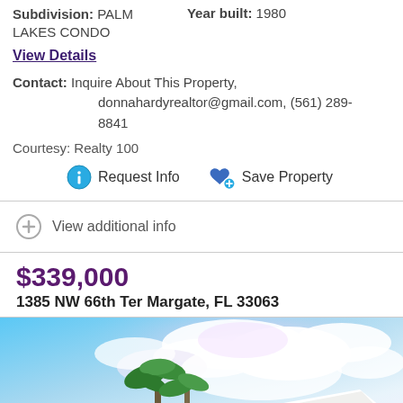Subdivision: PALM LAKES CONDO   Year built: 1980
View Details
Contact: Inquire About This Property, donnahardyrealtor@gmail.com, (561) 289-8841
Courtesy: Realty 100
Request Info   Save Property
View additional info
$339,000
1385 NW 66th Ter Margate, FL 33063
[Figure (photo): Exterior photo of a residential property with palm trees in foreground and a bright cloudy sky above a white roofline.]